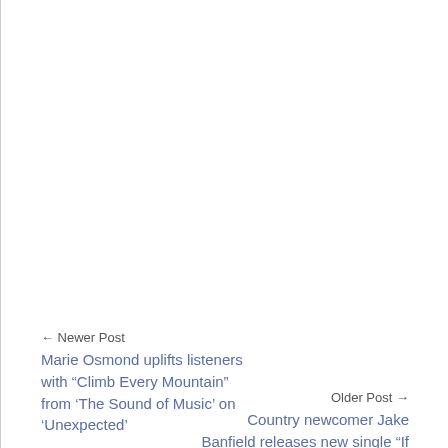← Newer Post
Marie Osmond uplifts listeners with “Climb Every Mountain” from ‘The Sound of Music’ on ‘Unexpected’
Older Post →
Country newcomer Jake Banfield releases new single “If